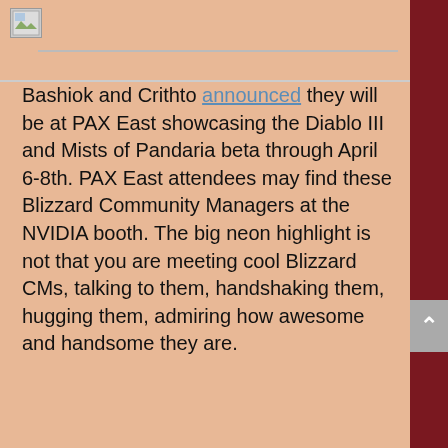[Figure (photo): Broken/placeholder image thumbnail in the top-left of the header bar]
Bashiok and Crithto announced they will be at PAX East showcasing the Diablo III and Mists of Pandaria beta through April 6-8th. PAX East attendees may find these Blizzard Community Managers at the NVIDIA booth. The big neon highlight is not that you are meeting cool Blizzard CMs, talking to them, handshaking them, hugging them, admiring how awesome and handsome they are.